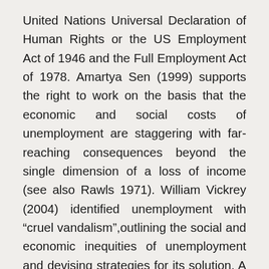United Nations Universal Declaration of Human Rights or the US Employment Act of 1946 and the Full Employment Act of 1978. Amartya Sen (1999) supports the right to work on the basis that the economic and social costs of unemployment are staggering with far-reaching consequences beyond the single dimension of a loss of income (see also Rawls 1971). William Vickrey (2004) identified unemployment with “cruel vandalism”,outlining the social and economic inequities of unemployment and devising strategies for its solution. A key proposition of such arguments is that no capitalist society has ever managed to operate at anything approaching true, full, employment on a consistent basis. Further, the burden of joblessness is borne unequally, concentrated among groups that already face other disadvantages: racial and ethnic minorities, immigrants, younger and older individuals, women, people with